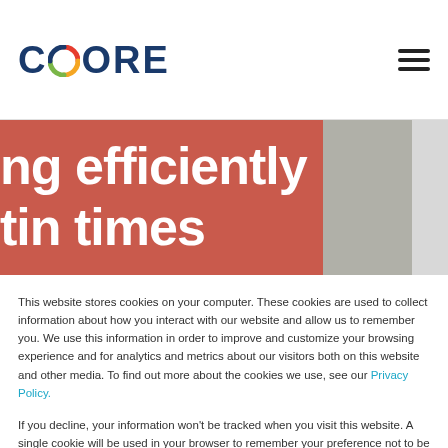[Figure (logo): CORE logo with colorful circular icon between 'C' and 'ORE' text in dark navy]
[Figure (illustration): Red/salmon colored hero banner with large white bold text partially visible: 'ng efficiently' on first line and 'tin times' partially visible on second line]
This website stores cookies on your computer. These cookies are used to collect information about how you interact with our website and allow us to remember you. We use this information in order to improve and customize your browsing experience and for analytics and metrics about our visitors both on this website and other media. To find out more about the cookies we use, see our Privacy Policy.
If you decline, your information won't be tracked when you visit this website. A single cookie will be used in your browser to remember your preference not to be tracked.